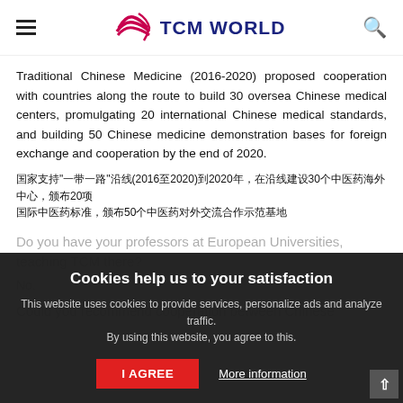TCM WORLD
Traditional Chinese Medicine (2016-2020) proposed cooperation with countries along the route to build 30 oversea Chinese medical centers, promulgating 20 international Chinese medical standards, and building 50 Chinese medicine demonstration bases for foreign exchange and cooperation by the end of 2020.
国家支持"一带一路"沿线(2016至2020)到2020年，在沿线建设30个中医药海外中心，颁布20项国际中医药标准，以及建设50个中医药对外交流合作示范基地
Do you have your professors at European Universities, teaching TCM there?
No.
Could you recommend cooperation between Chinese
Cookies help us to your satisfaction
This website uses cookies to provide services, personalize ads and analyze traffic.
By using this website, you agree to this.
I AGREE
More information